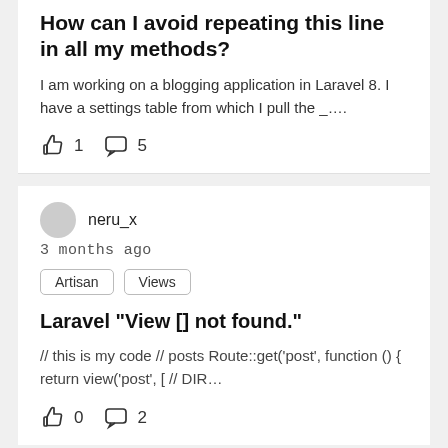How can I avoid repeating this line in all my methods?
I am working on a blogging application in Laravel 8. I have a settings table from which I pull the _….
👍 1  💬 5
neru_x
3 months ago
Artisan  Views
Laravel "View [] not found."
// this is my code // posts Route::get('post', function () { return view('post', [ // DIR…
👍 0  💬 2